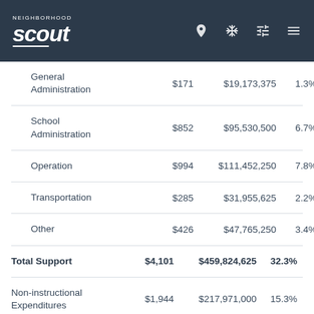Neighborhood Scout
| Category | Per Pupil | Total | Percent |
| --- | --- | --- | --- |
| General Administration | $171 | $19,173,375 | 1.3% |
| School Administration | $852 | $95,530,500 | 6.7% |
| Operation | $994 | $111,452,250 | 7.8% |
| Transportation | $285 | $31,955,625 | 2.2% |
| Other | $426 | $47,765,250 | 3.4% |
| Total Support | $4,101 | $459,824,625 | 32.3% |
| Non-instructional Expenditures | $1,944 | $217,971,000 | 15.3% |